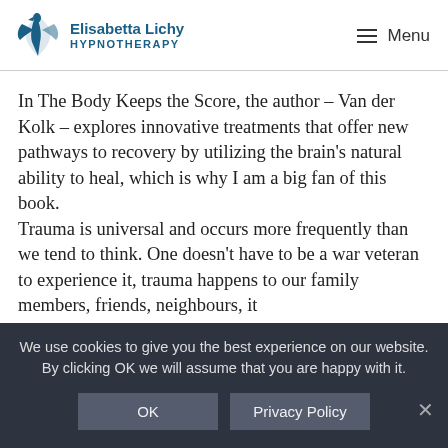Elisabetta Lichy Hypnotherapy — Menu
In The Body Keeps the Score, the author – Van der Kolk – explores innovative treatments that offer new pathways to recovery by utilizing the brain's natural ability to heal, which is why I am a big fan of this book.
Trauma is universal and occurs more frequently than we tend to think. One doesn't have to be a war veteran to experience it, trauma happens to our family members, friends, neighbours, it
We use cookies to give you the best experience on our website. By clicking OK we will assume that you are happy with it.